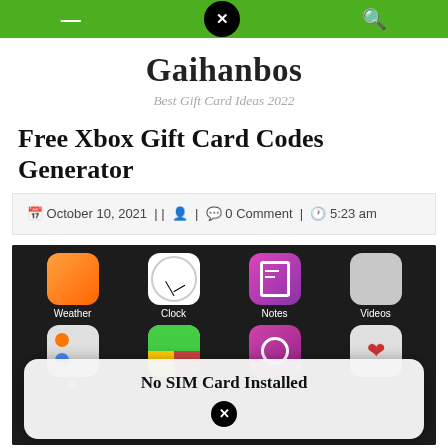Gaihanbos navigation bar
Gaihanbos
Best Gift Card Ideas 2022
Free Xbox Gift Card Codes Generator
October 10, 2021 || 👤 | 💬 0 Comment | ⏰ 5:23 am
[Figure (screenshot): Screenshot of an iPhone home screen showing app icons (Weather, Clock, Notes, Videos) with a modal dialog saying 'No SIM Card Installed' with an X button]